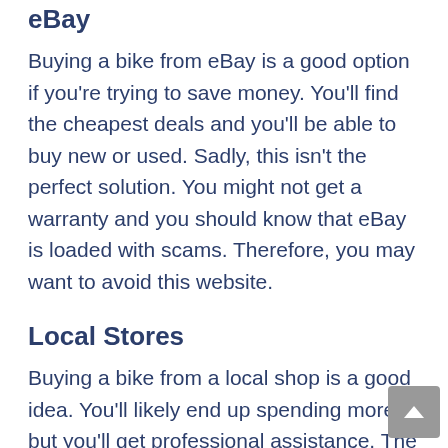eBay
Buying a bike from eBay is a good option if you're trying to save money. You'll find the cheapest deals and you'll be able to buy new or used. Sadly, this isn't the perfect solution. You might not get a warranty and you should know that eBay is loaded with scams. Therefore, you may want to avoid this website.
Local Stores
Buying a bike from a local shop is a good idea. You'll likely end up spending more but you'll get professional assistance. The clerk will show you their selection and tell you about them too. If you are a newbie and